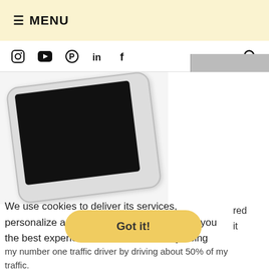≡ MENU
[Figure (screenshot): Navigation icon bar with Instagram, YouTube, Pinterest, LinkedIn, Facebook social icons and a search icon]
[Figure (photo): Partial photo of a white smartphone with a black screen, rotated slightly, on a light background]
We use cookies to deliver its services, personalize ads, and analyze traffic to give you the best experience on our website. By using this site, you agree to its use of cookies.
Learn more
Got it!
My number one traffic driver by driving about 50% of my traffic.